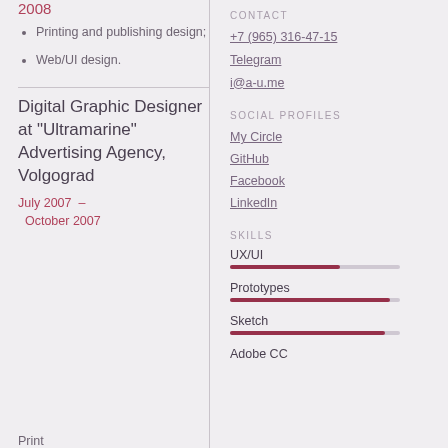2008
Printing and publishing design;
Web/UI design.
Digital Graphic Designer at "Ultramarine" Advertising Agency, Volgograd
July 2007 – October 2007
CONTACT
+7 (965) 316-47-15
Telegram
i@a-u.me
SOCIAL PROFILES
My Circle
GitHub
Facebook
LinkedIn
SKILLS
UX/UI
Prototypes
Sketch
Adobe CC